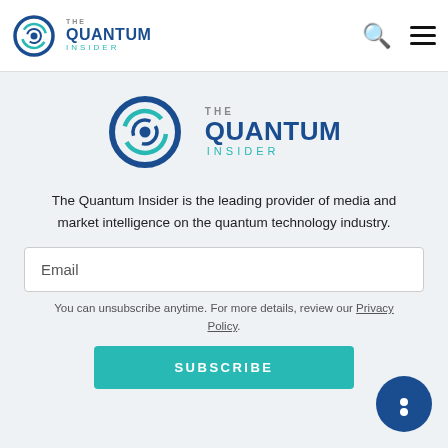The Quantum Insider - header with logo, search and menu icons
[Figure (logo): The Quantum Insider logo — circular orbit icon with THE QUANTUM INSIDER text in teal/blue]
The Quantum Insider is the leading provider of media and market intelligence on the quantum technology industry.
Email
You can unsubscribe anytime. For more details, review our Privacy Policy.
SUBSCRIBE